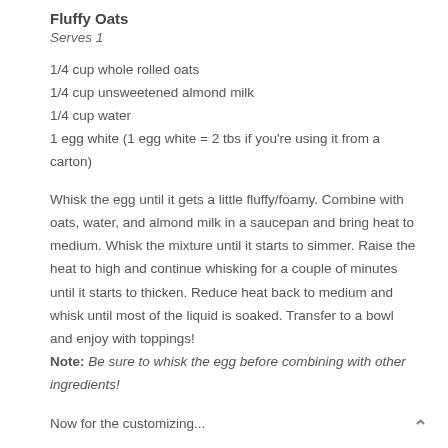Fluffy Oats
Serves 1
1/4 cup whole rolled oats
1/4 cup unsweetened almond milk
1/4 cup water
1 egg white (1 egg white = 2 tbs if you're using it from a carton)
Whisk the egg until it gets a little fluffy/foamy. Combine with oats, water, and almond milk in a saucepan and bring heat to medium. Whisk the mixture until it starts to simmer. Raise the heat to high and continue whisking for a couple of minutes until it starts to thicken. Reduce heat back to medium and whisk until most of the liquid is soaked. Transfer to a bowl and enjoy with toppings! Note: Be sure to whisk the egg before combining with other ingredients!
Now for the customizing...
[Figure (other): Broken image icon followed by link text: Customize Your Oats via NomNomCrunch.com]